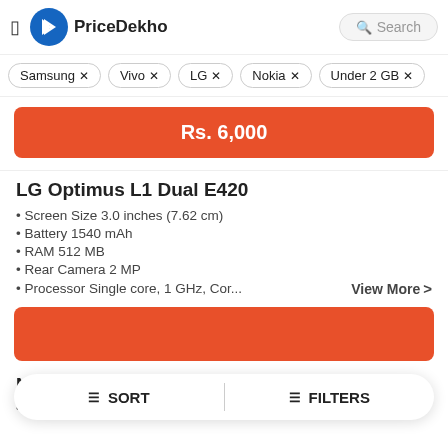PriceDekho
Samsung ×
Vivo ×
LG ×
Nokia ×
Under 2 GB ×
Rs. 6,000
LG Optimus L1 Dual E420
Screen Size 3.0 inches (7.62 cm)
Battery 1540 mAh
RAM 512 MB
Rear Camera 2 MP
Processor Single core, 1 GHz, Cor...
View More >
Nokia 105 2019
Screen Size 1.77 inches (4.5 cm)